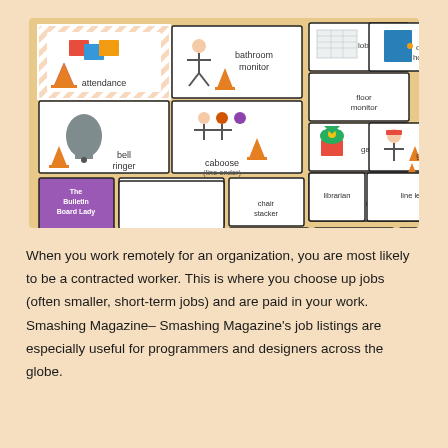[Figure (illustration): A collage of classroom job cards with orange and white diagonal stripe borders. Cards show illustrated children and text labels including: attendance, bathroom monitor, bell ringer, caboose (line ender), calendar helper, clean team, computer tech, door holder, floor monitor, gardener, greeter, hall monitor, homework helper, librarian, light monitor, line leader, mail carrier, and a 'The Bulletin Board Lady' logo card.]
When you work remotely for an organization, you are most likely to be a contracted worker. This is where you choose up jobs (often smaller, short-term jobs) and are paid in your work. Smashing Magazine– Smashing Magazine's job listings are especially useful for programmers and designers across the globe.